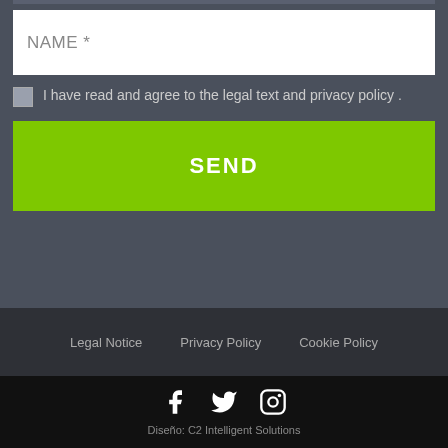NAME *
I have read and agree to the legal text and privacy policy .
SEND
Legal Notice   Privacy Policy   Cookie Policy
[Figure (other): Social media icons: Facebook, Twitter, Instagram]
Diseño: C2 Intelligent Solutions